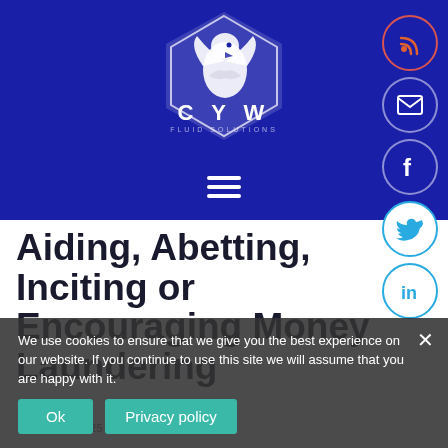[Figure (logo): CYW Fluid Solutions eagle logo in white on dark blue background with hamburger menu icon]
[Figure (other): Social media icons on right side: RSS (orange), email, Facebook, Twitter (teal), LinkedIn (teal)]
Aiding, Abetting, Inciting or Encouraging Money Laundering
BY ANDY · 25 OCTOBER 2019
We use cookies to ensure that we give you the best experience on our website. If you continue to use this site we will assume that you are happy with it.